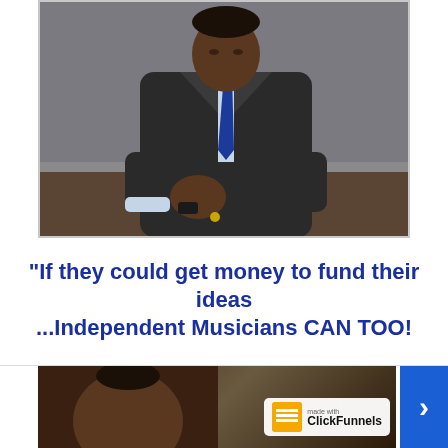[Figure (photo): Man in dark suit and blue tie sitting, photographed from mid-torso up, professional portrait style with grey background]
"If they could get money to fund their ideas ...Independent Musicians CAN TOO!"
[Figure (screenshot): Bottom video thumbnail showing a man's face with a ClickFunnels badge overlay and a blue right-arrow navigation button]